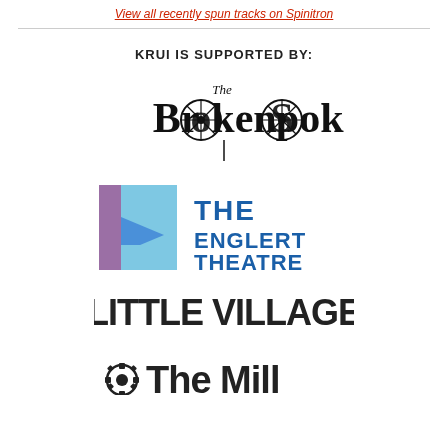View all recently spun tracks on Spinitron
KRUI IS SUPPORTED BY:
[Figure (logo): The Broken Spoke logo in black ink, decorative bicycle-wheel motif integrated into letters]
[Figure (logo): The Englert Theatre logo with geometric E shape in blue and purple, bold blue text]
[Figure (logo): Little Village logo in bold dark sans-serif text]
[Figure (logo): The Mill logo partially visible at bottom, with decorative gear/wheel icon]